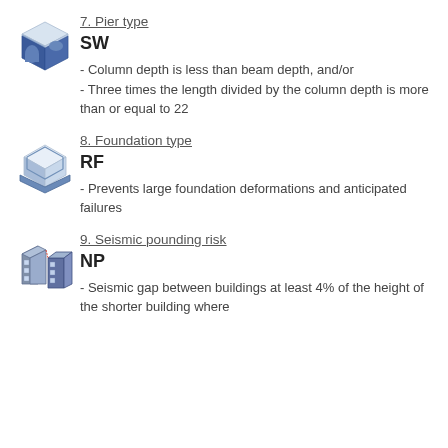[Figure (illustration): 3D isometric icon of a structural pier/wall element, blue and white cube shape]
7. Pier type
SW
- Column depth is less than beam depth, and/or
- Three times the length divided by the column depth is more than or equal to 22
[Figure (illustration): 3D isometric icon of a foundation element, light blue hexagonal cube shape]
8. Foundation type
RF
- Prevents large foundation deformations and anticipated failures
[Figure (illustration): 3D isometric icon showing two buildings with seismic pounding risk, blue cubes side by side]
9. Seismic pounding risk
NP
- Seismic gap between buildings at least 4% of the height of the shorter building where